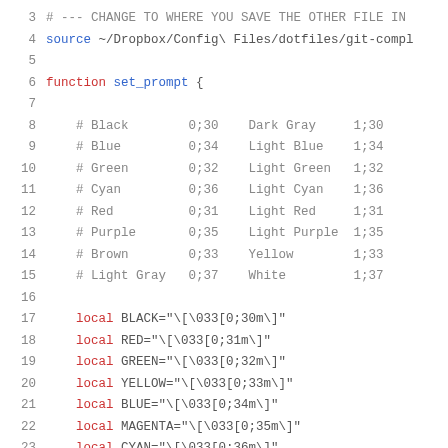3   # --- CHANGE TO WHERE YOU SAVE THE OTHER FILE IN
4   source ~/Dropbox/Config\ Files/dotfiles/git-compl
5
6   function set_prompt {
7
8       # Black        0;30    Dark Gray     1;30
9       # Blue         0;34    Light Blue    1;34
10      # Green        0;32    Light Green   1;32
11      # Cyan         0;36    Light Cyan    1;36
12      # Red          0;31    Light Red     1;31
13      # Purple       0;35    Light Purple  1;35
14      # Brown        0;33    Yellow        1;33
15      # Light Gray   0;37    White         1;37
16
17      local BLACK="\[\033[0;30m\]"
18      local RED="\[\033[0;31m\]"
19      local GREEN="\[\033[0;32m\]"
20      local YELLOW="\[\033[0;33m\]"
21      local BLUE="\[\033[0;34m\]"
22      local MAGENTA="\[\033[0;35m\]"
23      local CYAN="\[\033[0;36m\]"
24      local WHITE="\[\033[0;37m\]"